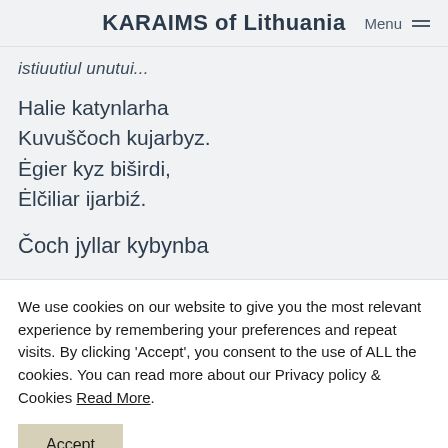KARAIMS of Lithuania
istiuutiul unutui...
Halie katynlarha
Kuvuščoch kujarbyz.
Ėgier kyz biširdi,
Ėlčiliar ijarbiź.
Čoch jyllar kybynba
We use cookies on our website to give you the most relevant experience by remembering your preferences and repeat visits. By clicking 'Accept', you consent to the use of ALL the cookies. You can read more about our Privacy policy & Cookies Read More.
Accept